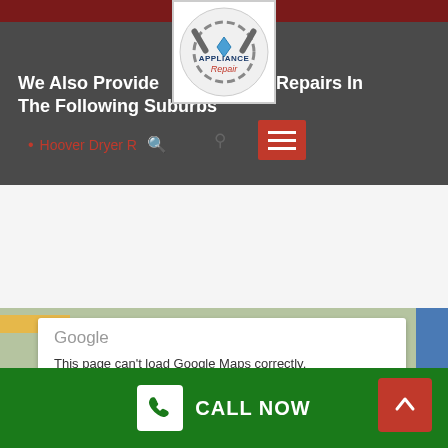[Figure (logo): Appliance Repair logo with wrenches]
We Also Provide Dryer Repairs In The Following Suburbs
Hoover Dryer Repair
MORE ABOUT ARMADALE
[Figure (screenshot): Google Maps embed showing error: This page can't load Google Maps correctly.]
CALL NOW